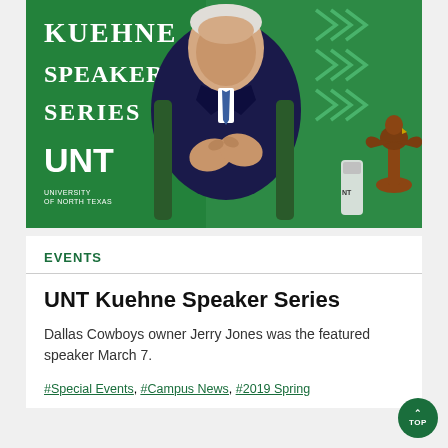[Figure (photo): Photo of Jerry Jones, Dallas Cowboys owner, seated in front of a green UNT Kuehne Speaker Series backdrop with white chevron logos. He wears a dark suit and blue tie, gesturing with hands together. An eagle trophy and UNT-branded water bottle are visible to his right.]
EVENTS
UNT Kuehne Speaker Series
Dallas Cowboys owner Jerry Jones was the featured speaker March 7.
#Special Events, #Campus News, #2019 Spring